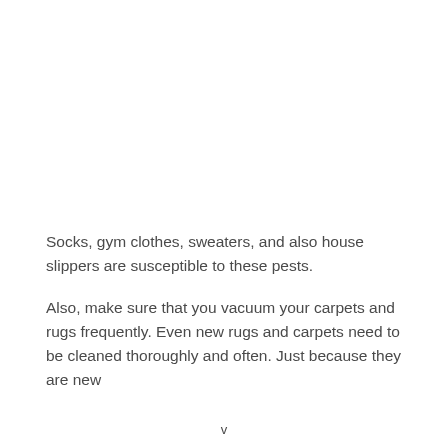Socks, gym clothes, sweaters, and also house slippers are susceptible to these pests.
Also, make sure that you vacuum your carpets and rugs frequently. Even new rugs and carpets need to be cleaned thoroughly and often. Just because they are new
v